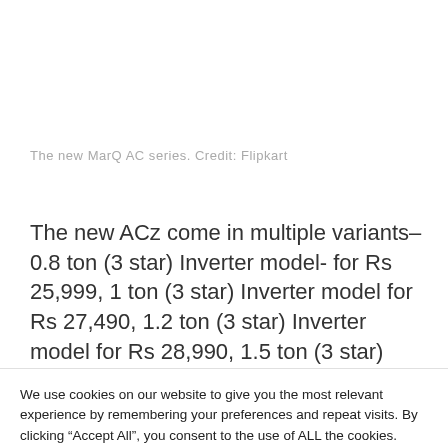The new MarQ AC series. Credit: Flipkart
The new ACz come in multiple variants– 0.8 ton (3 star) Inverter model- for Rs 25,999, 1 ton (3 star) Inverter model for Rs 27,490, 1.2 ton (3 star) Inverter model for Rs 28,990, 1.5 ton (3 star) Inverter model for Rs 29,990 and
We use cookies on our website to give you the most relevant experience by remembering your preferences and repeat visits. By clicking “Accept All”, you consent to the use of ALL the cookies. However, you may visit "Cookie Settings" to provide a controlled consent.